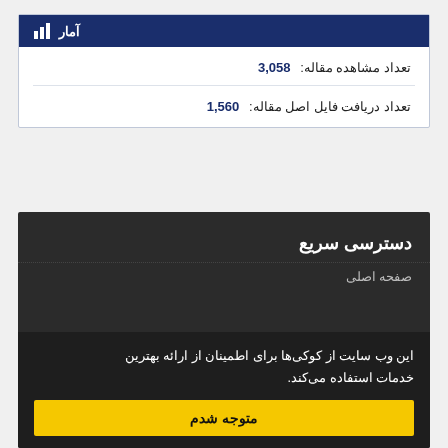آمار
تعداد مشاهده مقاله: 3,058
تعداد دریافت فایل اصل مقاله: 1,560
دسترسی سریع
صفحه اصلی
این وب سایت از کوکی‌ها برای اطمینان از ارائه بهترین خدمات استفاده می‌کند.
متوجه شدم